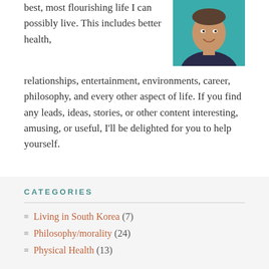best, most flourishing life I can possibly live. This includes better health, relationships, entertainment, environments, career, philosophy, and every other aspect of life. If you find any leads, ideas, stories, or other content interesting, amusing, or useful, I'll be delighted for you to help yourself.
[Figure (photo): Photo of a smiling man against a teal/blue background]
CATEGORIES
Living in South Korea (7)
Philosophy/morality (24)
Physical Health (13)